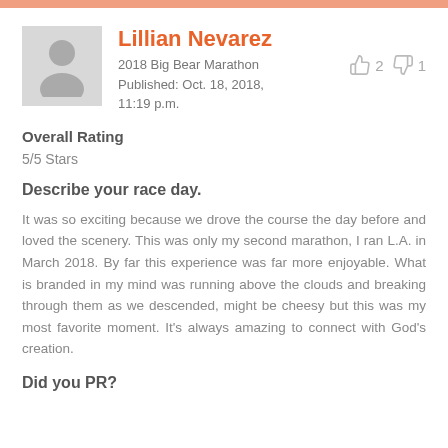Lillian Nevarez
2018 Big Bear Marathon
Published: Oct. 18, 2018, 11:19 p.m.
Overall Rating
5/5 Stars
Describe your race day.
It was so exciting because we drove the course the day before and loved the scenery. This was only my second marathon, I ran L.A. in March 2018. By far this experience was far more enjoyable. What is branded in my mind was running above the clouds and breaking through them as we descended, might be cheesy but this was my most favorite moment. It's always amazing to connect with God's creation.
Did you PR?